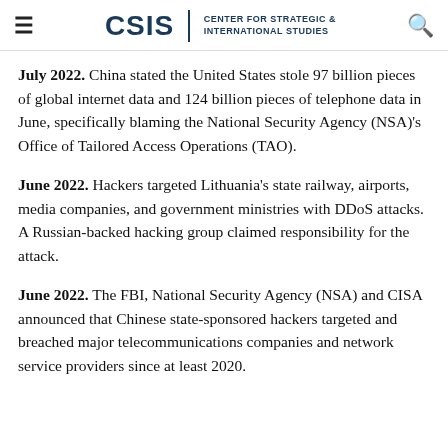CSIS | CENTER FOR STRATEGIC & INTERNATIONAL STUDIES
July 2022. China stated the United States stole 97 billion pieces of global internet data and 124 billion pieces of telephone data in June, specifically blaming the National Security Agency (NSA)'s Office of Tailored Access Operations (TAO).
June 2022. Hackers targeted Lithuania's state railway, airports, media companies, and government ministries with DDoS attacks. A Russian-backed hacking group claimed responsibility for the attack.
June 2022. The FBI, National Security Agency (NSA) and CISA announced that Chinese state-sponsored hackers targeted and breached major telecommunications companies and network service providers since at least 2020.